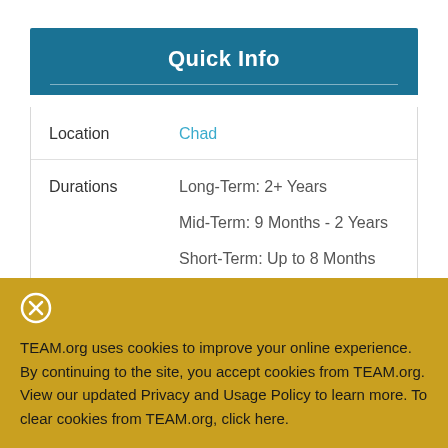Quick Info
| Field | Value |
| --- | --- |
| Location | Chad |
| Durations | Long-Term: 2+ Years
Mid-Term: 9 Months - 2 Years
Short-Term: Up to 8 Months |
TEAM.org uses cookies to improve your online experience. By continuing to the site, you accept cookies from TEAM.org. View our updated Privacy and Usage Policy to learn more. To clear cookies from TEAM.org, click here.